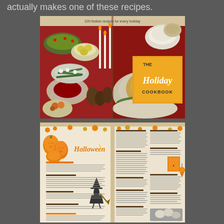actually makes one of these recipes.
[Figure (photo): Cover of The Holiday Cookbook showing a festive holiday spread with roast turkey, various dishes, candles, and the text '220 festive recipes for every holiday' on an orange and yellow cover.]
[Figure (photo): Interior spread of The Holiday Cookbook open to the Halloween section, showing recipes with Jack-o-lantern illustrations and a witch silhouette, orange and black decorative elements.]